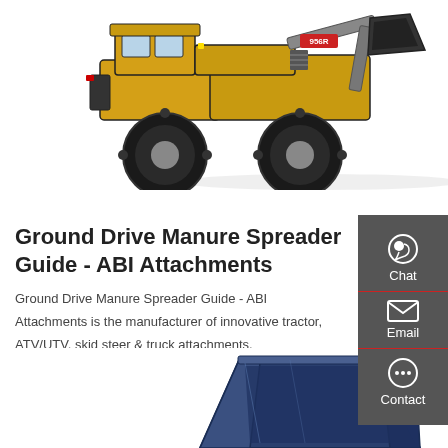[Figure (photo): Yellow front loader / wheel loader machine (model 956R) photographed against white background, showing large tires, bucket attachment, and yellow painted body]
Ground Drive Manure Spreader Guide - ABI Attachments
Ground Drive Manure Spreader Guide - ABI Attachments is the manufacturer of innovative tractor, ATV/UTV, skid steer & truck attachments.
Get a quote
[Figure (photo): Blue metal bucket/hopper attachment for skid steer or tractor, partially visible at bottom of page]